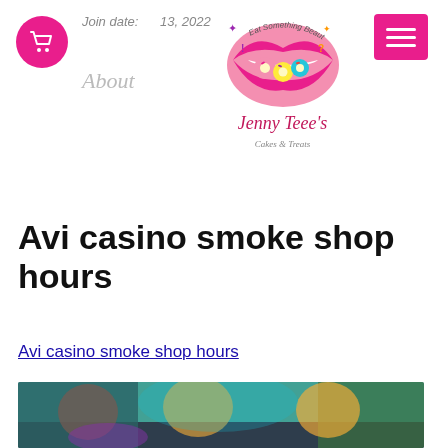Join date: 13, 2022
[Figure (logo): Jenny Teee's Cakes & Treats logo with pink lips and colorful donuts/sweets]
Avi casino smoke shop hours
Avi casino smoke shop hours
[Figure (photo): Blurred screenshot of a digital/gaming scene with teal background and animated characters]